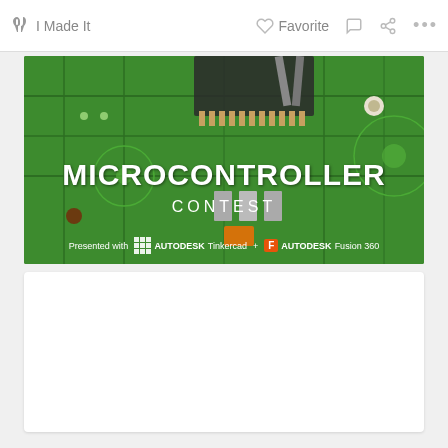I Made It  Favorite  ...
[Figure (photo): Microcontroller Contest banner image featuring a green PCB circuit board with a chip being placed by tweezers. Text overlay reads 'MICROCONTROLLER CONTEST. Presented with AUTODESK Tinkercad + AUTODESK Fusion 360']